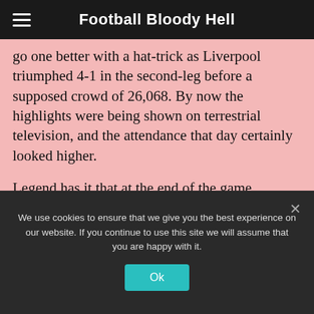Football Bloody Hell
go one better with a hat-trick as Liverpool triumphed 4-1 in the second-leg before a supposed crowd of 26,068. By now the highlights were being shown on terrestrial television, and the attendance that day certainly looked higher.
Legend has it that at the end of the game Liverpool were presented with two trophies. One came from the Football League, and one was from the sponsors, Screensport, who had come on board after the competition started. Supposedly, Liverpool were showing the trophies to their fans at
We use cookies to ensure that we give you the best experience on our website. If you continue to use this site we will assume that you are happy with it.